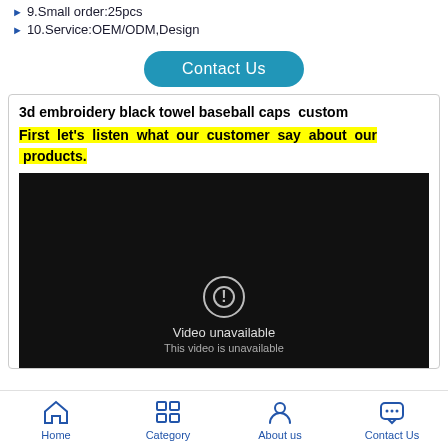9.Small order:25pcs
10.Service:OEM/ODM,Design
Contact Us
3d embroidery black towel baseball caps  custom
First let's listen what our customer say about our products.
[Figure (screenshot): Black video player area showing 'Video unavailable. This video is unavailable' message with a circle exclamation icon.]
Home  Category  About us  Contact Us